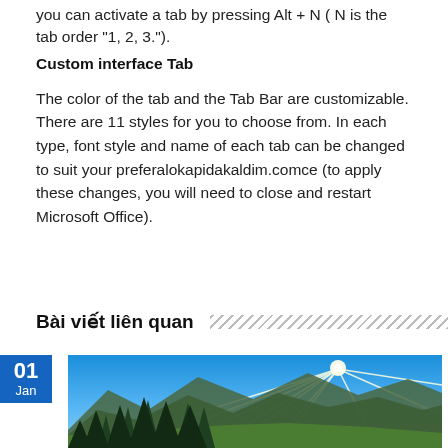you can activate a tab by pressing Alt + N ( N is the tab order "1, 2, 3.").
Custom interface Tab
The color of the tab and the Tab Bar are customizable. There are 11 styles for you to choose from. In each type, font style and name of each tab can be changed to suit your preferalokapidakaldim.comce (to apply these changes, you will need to close and restart Microsoft Office).
Bài viết liên quan
[Figure (photo): Mountain landscape with sunburst, evergreen trees, and valley]